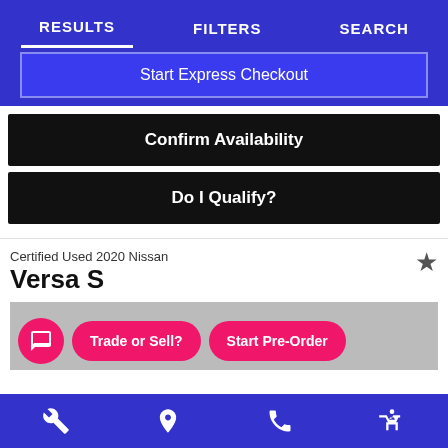RESULTS  FILTERS  SEARCH
Start Express Checkout
Confirm Availability
Do I Qualify?
Certified Used 2020 Nissan
Versa S
Trade or Sell?  Start Pre-Order